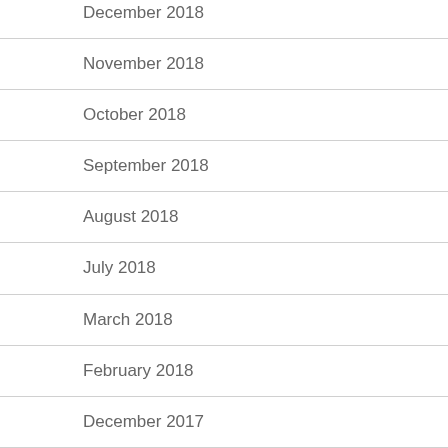December 2018
November 2018
October 2018
September 2018
August 2018
July 2018
March 2018
February 2018
December 2017
November 2017
August 2017